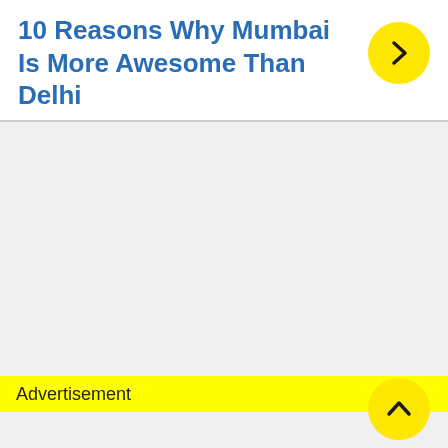10 Reasons Why Mumbai Is More Awesome Than Delhi
[Figure (other): Yellow circular button with right-pointing chevron arrow]
Advertisement
[Figure (other): Yellow circular button with upward-pointing arrow]